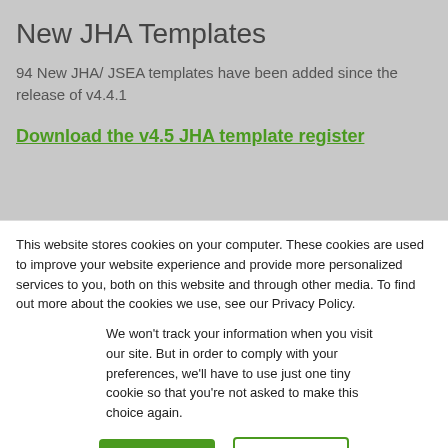New JHA Templates
94 New JHA/ JSEA templates have been added since the release of v4.4.1
Download the v4.5 JHA template register
This website stores cookies on your computer. These cookies are used to improve your website experience and provide more personalized services to you, both on this website and through other media. To find out more about the cookies we use, see our Privacy Policy.
We won't track your information when you visit our site. But in order to comply with your preferences, we'll have to use just one tiny cookie so that you're not asked to make this choice again.
Accept
Decline